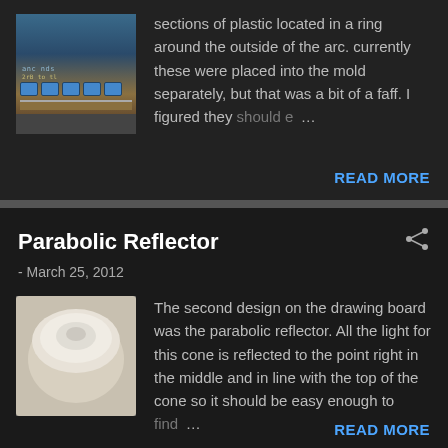sections of plastic located in a ring around the outside of the arc. currently these were placed into the mold separately, but that was a bit of a faff. I figured they should e… …
READ MORE
Parabolic Reflector
- March 25, 2012
The second design on the drawing board was the parabolic reflector. All the light for this cone is reflected to the point right in the middle and in line with the top of the cone so it should be easy enough to find …
READ MORE